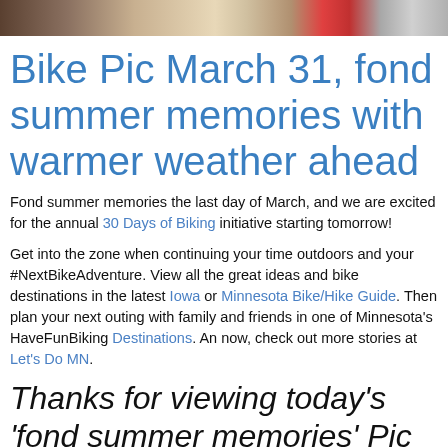[Figure (photo): Cropped photo strip showing a cyclist or person outdoors, partial view at top of page]
Bike Pic March 31, fond summer memories with warmer weather ahead
Fond summer memories the last day of March, and we are excited for the annual 30 Days of Biking initiative starting tomorrow!
Get into the zone when continuing your time outdoors and your #NextBikeAdventure. View all the great ideas and bike destinations in the latest Iowa or Minnesota Bike/Hike Guide. Then plan your next outing with family and friends in one of Minnesota's HaveFunBiking Destinations. An now, check out more stories at Let's Do MN.
Thanks for viewing today's 'fond summer memories' Pic of the Day